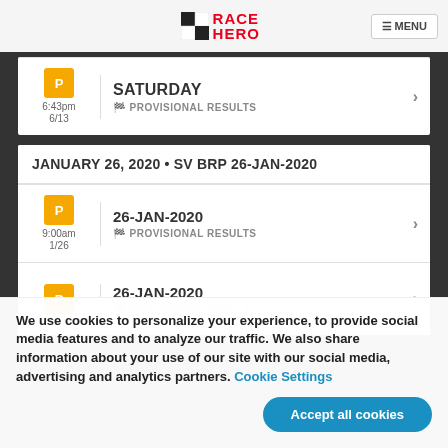RACE HERO — MENU
SATURDAY — 6:43pm 6/13 — PROVISIONAL RESULTS
JANUARY 26, 2020 • SV BRP 26-JAN-2020
26-JAN-2020 — 9:00am 1/26 — PROVISIONAL RESULTS
26-JAN-2020 — PROVISIONAL RESULTS
We use cookies to personalize your experience, to provide social media features and to analyze our traffic. We also share information about your use of our site with our social media, advertising and analytics partners. Cookie Settings
Accept all cookies